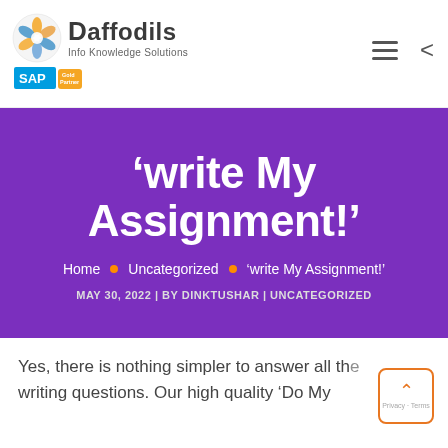[Figure (logo): Daffodils Info Knowledge Solutions logo with SAP Gold Partner badge]
'write My Assignment!'
Home • Uncategorized • 'write My Assignment!'
MAY 30, 2022 | BY DINKTUSHAR | UNCATEGORIZED
Yes, there is nothing simpler to answer all the writing questions. Our high quality â€˜Do My